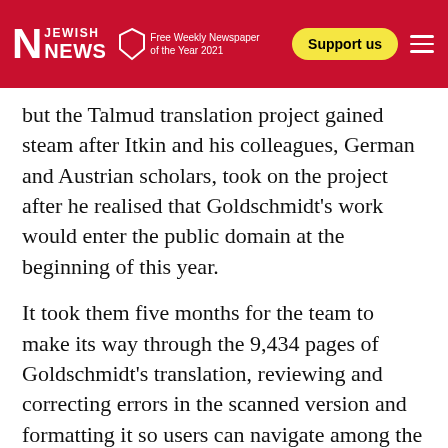N JEWISH News — Free Weekly Newspaper of the Year 2021 | Support us
but the Talmud translation project gained steam after Itkin and his colleagues, German and Austrian scholars, took on the project after he realised that Goldschmidt's work would enter the public domain at the beginning of this year.
It took them five months for the team to make its way through the 9,434 pages of Goldschmidt's translation, reviewing and correcting errors in the scanned version and formatting it so users can navigate among the German, English and Hebrew/Aramaic translations that Sefaria makes available. (Sefaria's CEO, Daniel Septimus, is a board member of 70 Faces Media, the Jewish Telegraphic Agency's parent company.)